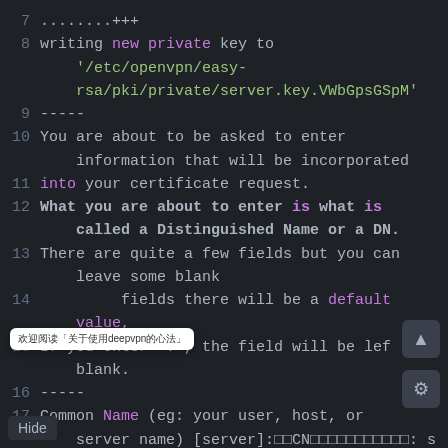7  ........+++
8  writing new private key to '/etc/openvpn/easy-rsa/pki/private/server.key.VWbGpsGSpM'
9  -----
10 You are about to be asked to enter information that will be incorporated
11 into your certificate request.
12 What you are about to enter is what is called a Distinguished Name or a DN.
13 There are quite a few fields but you can leave some blank
14 For some fields there will be a default value,
15 If you enter '.', the field will be left blank.
16 -----
17 Common Name (eg: your user, host, or server name) [server]:  CN=:server